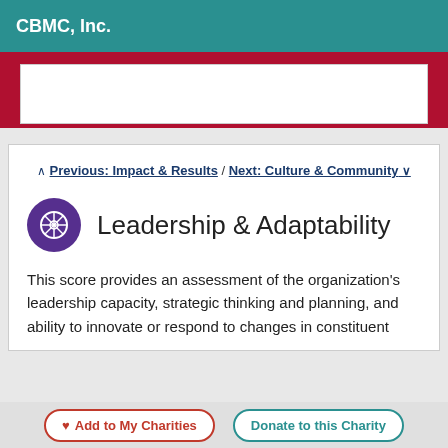CBMC, Inc.
Previous: Impact & Results / Next: Culture & Community
Leadership & Adaptability
This score provides an assessment of the organization's leadership capacity, strategic thinking and planning, and ability to innovate or respond to changes in constituent
Add to My Charities / Donate to this Charity